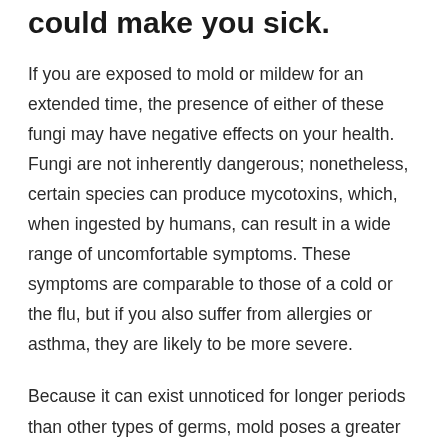could make you sick.
If you are exposed to mold or mildew for an extended time, the presence of either of these fungi may have negative effects on your health. Fungi are not inherently dangerous; nonetheless, certain species can produce mycotoxins, which, when ingested by humans, can result in a wide range of uncomfortable symptoms. These symptoms are comparable to those of a cold or the flu, but if you also suffer from allergies or asthma, they are likely to be more severe.
Because it can exist unnoticed for longer periods than other types of germs, mold poses a greater threat to human health. Mildew is a surface fungus, which means that it is typically very easy to spot and get rid of.